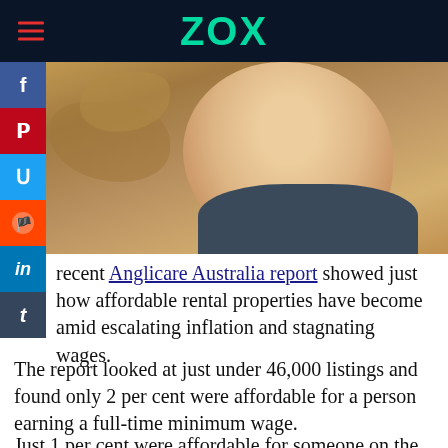ZOX
[Figure (photo): Photo of a smiling woman outdoors near rocky terrain, wearing a dark jacket]
A recent Anglicare Australia report showed just how affordable rental properties have become amid escalating inflation and stagnating wages.
The report looked at just under 46,000 listings and found only 2 per cent were affordable for a person earning a full-time minimum wage.
Just 1 per cent were affordable for someone on the age